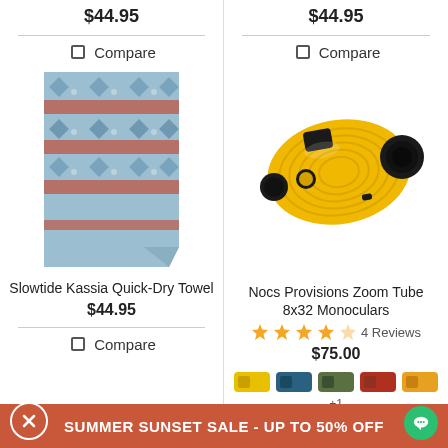$44.95
$44.95
Compare
Compare
[Figure (photo): Slowtide Kassia Quick-Dry Towel with blue and red geometric/Aztec pattern]
[Figure (photo): Nocs Provisions Zoom Tube 8x32 Monoculars in yellow and black]
Slowtide Kassia Quick-Dry Towel
$44.95
Nocs Provisions Zoom Tube 8x32 Monoculars
4 Reviews
$75.00
Compare
+1 more
SUMMER SUNSET SALE - UP TO 50% OFF